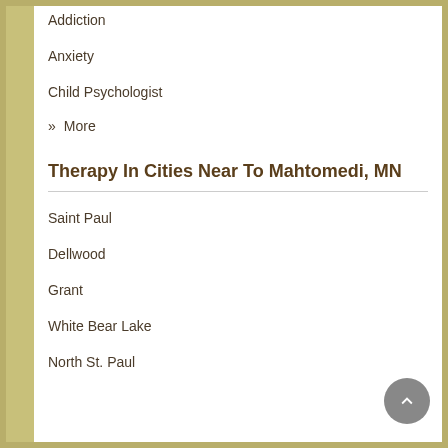Addiction
Anxiety
Child Psychologist
» More
Therapy In Cities Near To Mahtomedi, MN
Saint Paul
Dellwood
Grant
White Bear Lake
North St. Paul